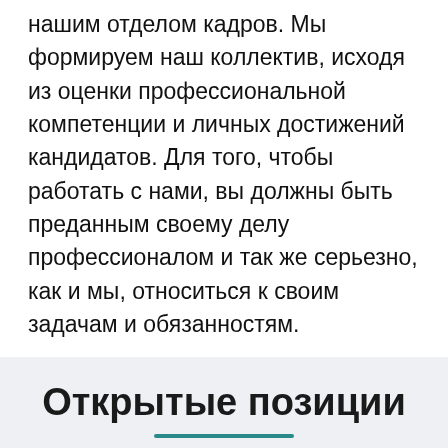нашим отделом кадров. Мы формируем наш коллектив, исходя из оценки профессиональной компетенции и личных достижений кандидатов. Для того, чтобы работать с нами, вы должны быть преданным своему делу профессионалом и так же серьезно, как и мы, относиться к своим задачам и обязанностям.
Открытые позиции
Head of Accounting Department